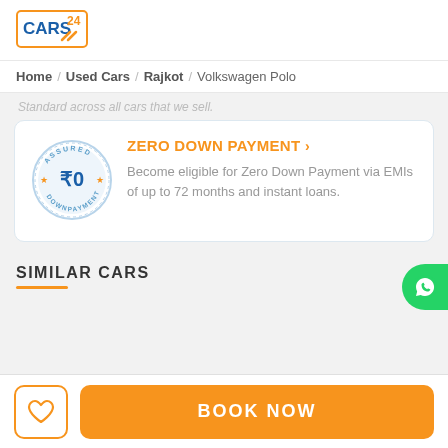[Figure (logo): CARS24 logo with orange border and blue text]
Home / Used Cars / Rajkot / Volkswagen Polo
Standard across all cars that we sell.
ZERO DOWN PAYMENT >
Become eligible for Zero Down Payment via EMIs of up to 72 months and instant loans.
SIMILAR CARS
BOOK NOW